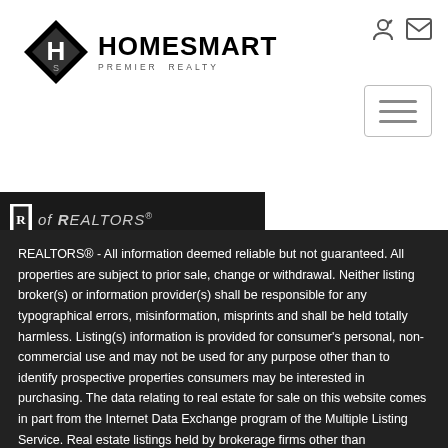[Figure (logo): HomeSmart Premier Realty logo with diamond shape and stylized H icon]
[Figure (logo): Realtor MLS badge with 'of REALTORS' text]
REALTORS® - All information deemed reliable but not guaranteed. All properties are subject to prior sale, change or withdrawal. Neither listing broker(s) or information provider(s) shall be responsible for any typographical errors, misinformation, misprints and shall be held totally harmless. Listing(s) information is provided for consumer's personal, non-commercial use and may not be used for any purpose other than to identify prospective properties consumers may be interested in purchasing. The data relating to real estate for sale on this website comes in part from the Internet Data Exchange program of the Multiple Listing Service. Real estate listings held by brokerage firms other than HomeSmart Premier Realty may be